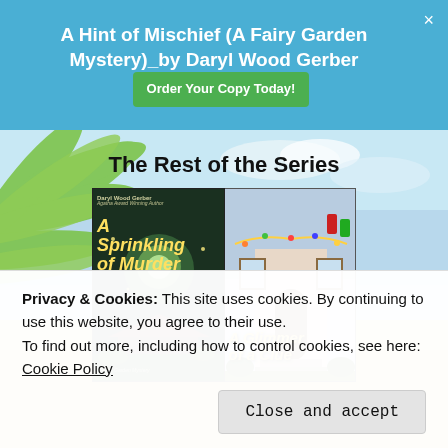A Hint of Mischief (A Fairy Garden Mystery)_by Daryl Wood Gerber
[Figure (illustration): Blue header banner with book title 'A Hint of Mischief (A Fairy Garden Mystery)_by Daryl Wood Gerber', a green 'Order Your Copy Today!' button, and a close X button]
The Rest of the Series
[Figure (photo): Two book covers side by side: Left: 'A Sprinkling of Murder' by Daryl Wood Gerber (A Fairy Garden Mystery) with dark garden scene. Right: 'A Glimmer of a Clue' (A Fairy Garden Mystery) with a decorated shop entrance scene.]
Privacy & Cookies: This site uses cookies. By continuing to use this website, you agree to their use.
To find out more, including how to control cookies, see here: Cookie Policy
Close and accept